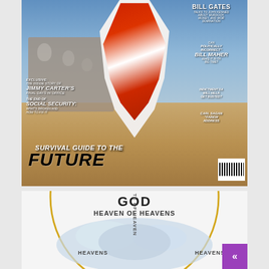[Figure (photo): Magazine cover showing a woman in a red and white swimsuit standing in front of Mount Rushmore, with text overlays including headlines about Bill Gates, Bill Maher, Jimmy Carter, Social Security, Carl Sagan, and a 'Survival Guide to the Future' heading]
[Figure (infographic): Diagram showing cosmological/theological hierarchy with 'GOD' at top, 'HEAVEN OF HEAVENS' below, then clouds representing heavens on either side, with vertical text 'TE OF HEAVEN' and labels 'HEAVENS' on left and right. A purple scroll-to-top button appears in the bottom right corner.]